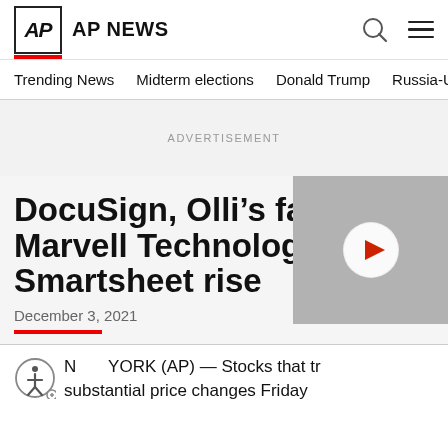AP AP NEWS
Trending News   Midterm elections   Donald Trump   Russia-Ukr
ADVERTISEMENT
DocuSign, Olli’s fall; Marvell Technology, Smartsheet rise
December 3, 2021
NEW YORK (AP) — Stocks that tr
substantial price changes Friday